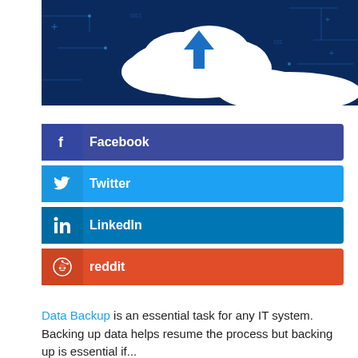[Figure (illustration): Cloud upload illustration on dark blue tech background with circuit patterns, white cloud with upload arrow, watermark www.cloudvandana.com]
[Figure (infographic): Social media share buttons: Facebook (dark blue/purple), Twitter (light blue), LinkedIn (blue), reddit (orange-red)]
Data Backup is an essential task for any IT system. Backing up data helps resume the process but backing up is essential if...